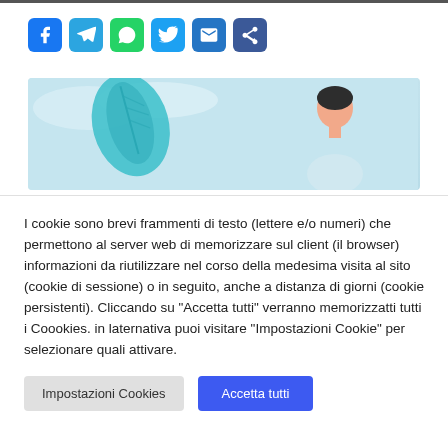[Figure (infographic): Social share buttons row: Facebook (blue), Telegram (light blue), WhatsApp (green), Twitter (light blue), Email (blue), Share (dark blue)]
[Figure (illustration): Light blue banner illustration with a teal leaf shape on the left and a person figure on the right against a sky-blue background]
I cookie sono brevi frammenti di testo (lettere e/o numeri) che permettono al server web di memorizzare sul client (il browser) informazioni da riutilizzare nel corso della medesima visita al sito (cookie di sessione) o in seguito, anche a distanza di giorni (cookie persistenti). Cliccando su "Accetta tutti" verranno memorizzatti tutti i Coookies. in laternativa puoi visitare "Impostazioni Cookie" per selezionare quali attivare.
Impostazioni Cookies
Accetta tutti